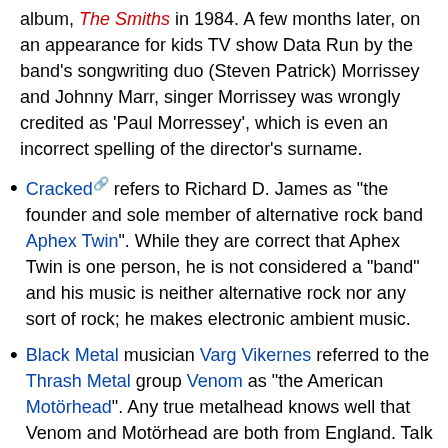album, The Smiths in 1984. A few months later, on an appearance for kids TV show Data Run by the band's songwriting duo (Steven Patrick) Morrissey and Johnny Marr, singer Morrissey was wrongly credited as 'Paul Morressey', which is even an incorrect spelling of the director's surname.
Cracked [ext] refers to Richard D. James as "the founder and sole member of alternative rock band Aphex Twin". While they are correct that Aphex Twin is one person, he is not considered a "band" and his music is neither alternative rock nor any sort of rock; he makes electronic ambient music.
Black Metal musician Varg Vikernes referred to the Thrash Metal group Venom as "the American Motörhead". Any true metalhead knows well that Venom and Motörhead are both from England. Talk about ignorance towards your own genre's origins...
At the release of the documentary about their final concert, a movie website referred to LCD Soundsystem